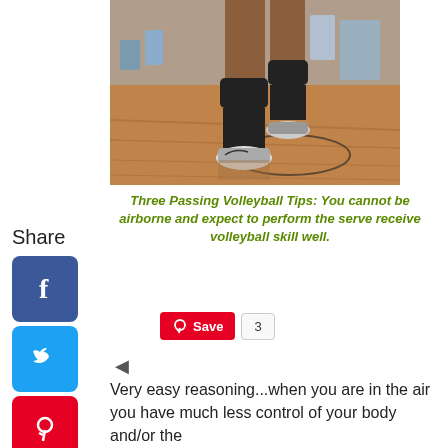[Figure (photo): Volleyball player legs and feet on a hardwood court, spectators in background]
Three Passing Volleyball Tips: You cannot be airborne and expect to perform the serve receive volleyball skill well.
[Figure (other): Pinterest Save button with count of 3]
Share
[Figure (logo): Facebook social share icon]
[Figure (logo): Twitter social share icon]
[Figure (logo): Pinterest social share icon]
[Figure (logo): Tumblr social share icon]
[Figure (logo): Reddit social share icon]
[Figure (logo): WhatsApp social share icon]
Very easy reasoning...when you are in the air you have much less control of your body and/or the